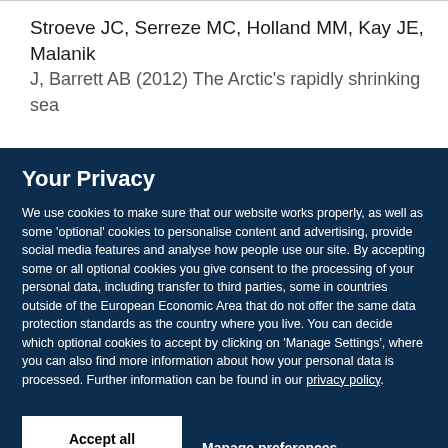Stroeve JC, Serreze MC, Holland MM, Kay JE, Malanik J, Barrett AB (2012) The Arctic's rapidly shrinking sea
Your Privacy
We use cookies to make sure that our website works properly, as well as some 'optional' cookies to personalise content and advertising, provide social media features and analyse how people use our site. By accepting some or all optional cookies you give consent to the processing of your personal data, including transfer to third parties, some in countries outside of the European Economic Area that do not offer the same data protection standards as the country where you live. You can decide which optional cookies to accept by clicking on 'Manage Settings', where you can also find more information about how your personal data is processed. Further information can be found in our privacy policy.
Accept all cookies
Manage preferences